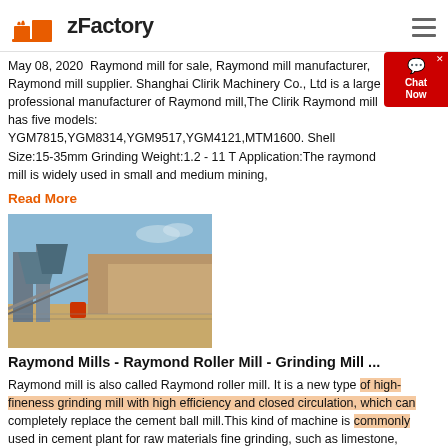zFactory
May 08, 2020  Raymond mill for sale, Raymond mill manufacturer, Raymond mill supplier. Shanghai Clirik Machinery Co., Ltd is a large professional manufacturer of Raymond mill,The Clirik Raymond mill has five models: YGM7815,YGM8314,YGM9517,YGM4121,MTM1600. Shell Size:15-35mm Grinding Weight:1.2 - 11 T Application:The raymond mill is widely used in small and medium mining,
Read More
[Figure (photo): Industrial Raymond mill / grinding mill equipment installed outdoors in a sandy/rocky environment with blue sky background]
Raymond Mills - Raymond Roller Mill - Grinding Mill ...
Raymond mill is also called Raymond roller mill. It is a new type of high-fineness grinding mill with high efficiency and closed circulation, which can completely replace the cement ball mill.This kind of machine is commonly used in cement plant for raw materials fine grinding, such as limestone,